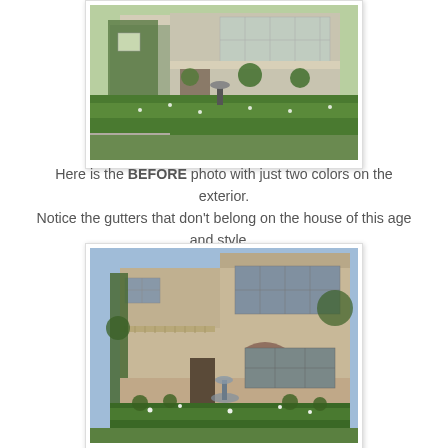[Figure (photo): Exterior of a house with green hedges, rose garden, a fountain, and large windows. This is the BEFORE photo showing the house with just two colors on the exterior and gutters visible.]
Here is the BEFORE photo with just two colors on the exterior.
Notice the gutters that don't belong on the house of this age and style...
[Figure (photo): Another exterior view of the same house from a different angle, showing the front facade with fountain, rose garden, large windows, and architectural details. This appears to be a comparison or after photo.]